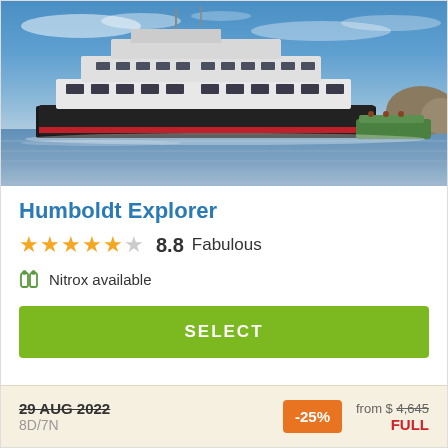[Figure (photo): A large white cruise/liveaboard ship named Humboldt Explorer sailing on blue ocean water under a blue sky with light clouds. A smaller green tender boat is visible to the right of the ship.]
Humboldt Explorer
★★★★½ 8.8 Fabulous
Nitrox available
SELECT
29 AUG 2022 (strikethrough) 8D/7N -25% from $ 4,645 (strikethrough) FULL